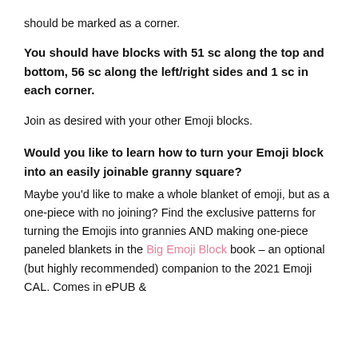should be marked as a corner.
You should have blocks with 51 sc along the top and bottom, 56 sc along the left/right sides and 1 sc in each corner.
Join as desired with your other Emoji blocks.
Would you like to learn how to turn your Emoji block into an easily joinable granny square?
Maybe you'd like to make a whole blanket of emoji, but as a one-piece with no joining? Find the exclusive patterns for turning the Emojis into grannies AND making one-piece paneled blankets in the Big Emoji Block book – an optional (but highly recommended) companion to the 2021 Emoji CAL. Comes in ePUB &